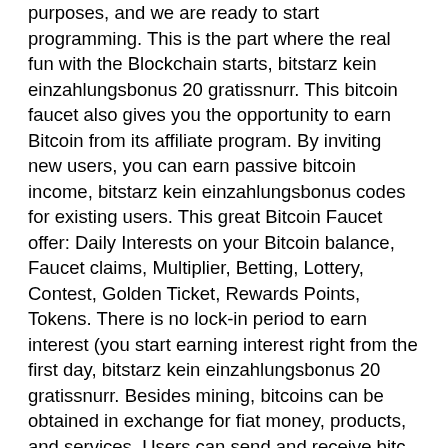purposes, and we are ready to start programming. This is the part where the real fun with the Blockchain starts, bitstarz kein einzahlungsbonus 20 gratissnurr. This bitcoin faucet also gives you the opportunity to earn Bitcoin from its affiliate program. By inviting new users, you can earn passive bitcoin income, bitstarz kein einzahlungsbonus codes for existing users. This great Bitcoin Faucet offer: Daily Interests on your Bitcoin balance, Faucet claims, Multiplier, Betting, Lottery, Contest, Golden Ticket, Rewards Points, Tokens. There is no lock-in period to earn interest (you start earning interest right from the first day, bitstarz kein einzahlungsbonus 20 gratissnurr. Besides mining, bitcoins can be obtained in exchange for fiat money, products, and services. Users can send and receive bitc Continue reading >> Bitcoin Earning Trick: How To Earn Fast And Free Bitcoins, bitstarz kein einzahlungsbonus 20 free spins. Note that